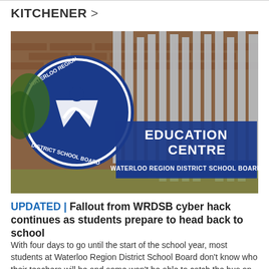KITCHENER >
[Figure (photo): Photo of the Waterloo Region District School Board Education Centre building sign, featuring the WRDSB circular logo on the left and large blue letters reading 'EDUCATION CENTRE' with 'WATERLOO REGION DISTRICT SCHOOL BOARD' below it, mounted on metal pillars in front of a brick building.]
UPDATED | Fallout from WRDSB cyber hack continues as students prepare to head back to school
With four days to go until the start of the school year, most students at Waterloo Region District School Board don't know who their teachers will be and some won't be able to catch the bus on the first day of school.